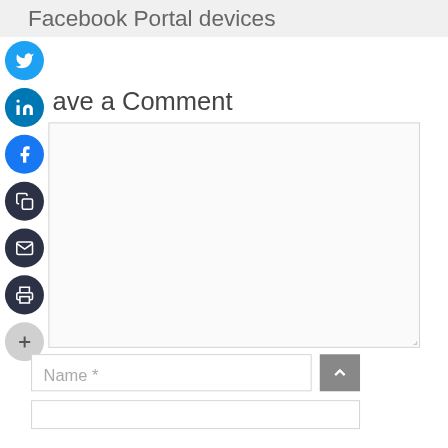Facebook Portal devices
[Figure (illustration): Twitter share button - blue circle with white Twitter bird icon]
[Figure (illustration): LinkedIn share button - dark blue circle with white LinkedIn 'in' icon]
[Figure (illustration): Facebook share button - blue circle with white Facebook 'f' icon]
[Figure (illustration): Copy link button - dark navy circle with white copy icon]
[Figure (illustration): Email share button - dark navy circle with white envelope icon]
[Figure (illustration): Print button - dark navy circle with white printer icon]
[Figure (illustration): More options button - light gray circle with white plus (+) icon]
Leave a Comment
Name *
[Figure (illustration): Gray scroll-to-top button with upward chevron arrow]